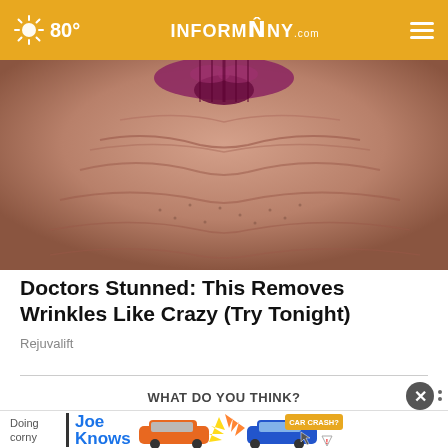80° INFORMNNY.com
[Figure (photo): Close-up macro photo of elderly person's wrinkled lips and chin area, showing aged skin texture with deep wrinkles]
Doctors Stunned: This Removes Wrinkles Like Crazy (Try Tonight)
Rejuvalift
WHAT DO YOU THINK?
[Figure (screenshot): Ad banner for 'Joe Knows' car crash legal service showing orange and blue cartoon cars colliding with CAR CRASH? badge. Text includes 'Doing' and 'corny' on left side.]